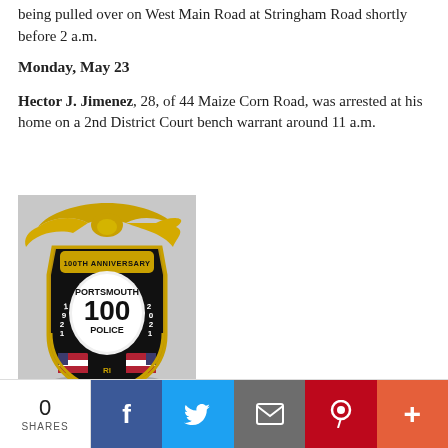being pulled over on West Main Road at Stringham Road shortly before 2 a.m.
Monday, May 23
Hector J. Jimenez, 28, of 44 Maize Corn Road, was arrested at his home on a 2nd District Court bench warrant around 11 a.m.
[Figure (photo): Portsmouth Police 100th Anniversary badge — gold shield with eagle on top, black center reading '100TH ANNIVERSARY / PORTSMOUTH / 100 / POLICE / RI / 1921–2021' with American flags at bottom.]
0 SHARES | Facebook | Twitter | Email | Pinterest | More